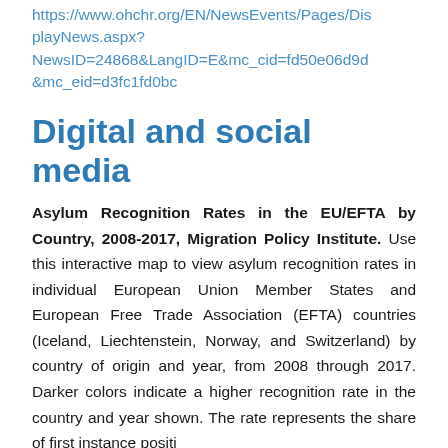https://www.ohchr.org/EN/NewsEvents/Pages/DisplayNews.aspx?NewsID=24868&LangID=E&mc_cid=fd50e06d9d&mc_eid=d3fc1fd0bc
Digital and social media
Asylum Recognition Rates in the EU/EFTA by Country, 2008-2017, Migration Policy Institute. Use this interactive map to view asylum recognition rates in individual European Union Member States and European Free Trade Association (EFTA) countries (Iceland, Liechtenstein, Norway, and Switzerland) by country of origin and year, from 2008 through 2017. Darker colors indicate a higher recognition rate in the country and year shown. The rate represents the share of first instance positive